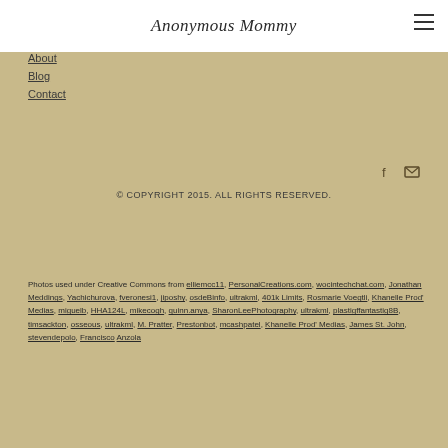Anonymous Mommy
About
Blog
Contact
© COPYRIGHT 2015. ALL RIGHTS RESERVED.
Photos used under Creative Commons from elliemcc11, PersonalCreations.com, wocintechchat.com, Jonathan Meddings, Yachichurova, fveronesi1, jiposhy, osdeBinfo, ultrakml, 401k Limits, Rosmarie Voegtli, Khanelle Prod' Medias, miguelb, HHA124L, mikecogh, quinn.anya, SharonLeePhotography, ultrakml, plastigffantastig8B, timsackton, osseous, ultrakml, M. Pratter, Prestonbot, mcashpatel, Khanelle Prod' Medias, James St. John, stevendepolo, Francisco Anzola